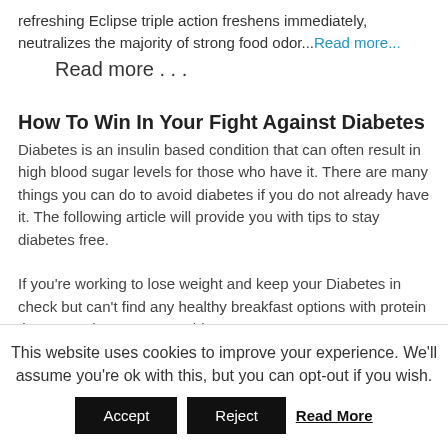refreshing Eclipse triple action freshens immediately, neutralizes the majority of strong food odor...Read more...
Read more . . .
How To Win In Your Fight Against Diabetes
Diabetes is an insulin based condition that can often result in high blood sugar levels for those who have it. There are many things you can do to avoid diabetes if you do not already have it. The following article will provide you with tips to stay diabetes free.
If you're working to lose weight and keep your Diabetes in check but can't find any healthy breakfast options with protein that you enjoy, try a smoothie.
This website uses cookies to improve your experience. We'll assume you're ok with this, but you can opt-out if you wish.
Accept | Reject | Read More